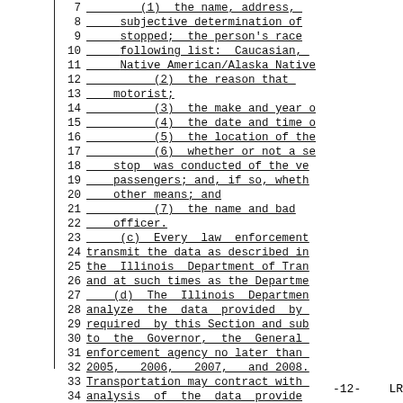7   (1)  the name, address,
8       subjective determination of
9       stopped; the person's race
10      following list:  Caucasian,
11      Native American/Alaska Native
12          (2)  the reason that
13      motorist;
14          (3)  the make and year o
15          (4)  the date and time o
16          (5)  the location of the
17          (6)  whether or not a se
18      stop  was conducted of the ve
19      passengers; and, if so, wheth
20      other means; and
21          (7)  the name and bad
22      officer.
23      (c)  Every  law  enforcement
24  transmit the data as described in
25  the  Illinois  Department of Tran
26  and at such times as the Departme
27      (d)  The  Illinois  Departmen
28  analyze  the  data  provided  by
29  required  by this Section and sub
30  to  the  Governor,  the  General
31  enforcement agency no later than
32  2005,   2006,   2007,   and  2008.
33  Transportation may contract with
34  analysis  of  the  data  provide
-12-   LR